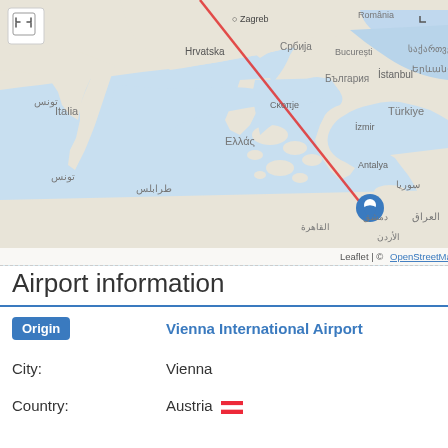[Figure (map): Interactive map showing a route from Vienna (off the top of the map) to Damascus, Syria, marked with a blue pin. The map covers the Mediterranean region including Italy, Greece, Turkey, and the Middle East. A red flight path line is drawn diagonally from upper-center to the blue pin at Damascus. Map attribution: Leaflet | © OpenStreetMap contributors.]
Airport information
| Origin | Vienna International Airport |
| City: | Vienna |
| Country: | Austria 🇦🇹 |